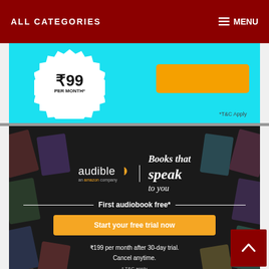ALL CATEGORIES    MENU
[Figure (screenshot): Cyan promotional banner partially visible showing a badge with rupee price 'PER MONTH*', a yellow button, and '*T&C Apply' text]
[Figure (screenshot): Audible by Amazon advertisement on dark background with book covers. Text: 'audible an amazon company | Books that speak to you. First audiobook free*. Start your free trial now. ₹199 per month after 30-day trial. Cancel anytime. * T&C apply']
[Figure (screenshot): Amazon Business banner on gold/yellow background showing 'amazon business' logo and 'GST Invoice' text (partially visible at bottom)]